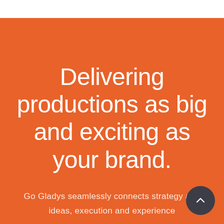Delivering productions as big and exciting as your brand.
Go Gladys seamlessly connects strategy and ideas, execution and experience